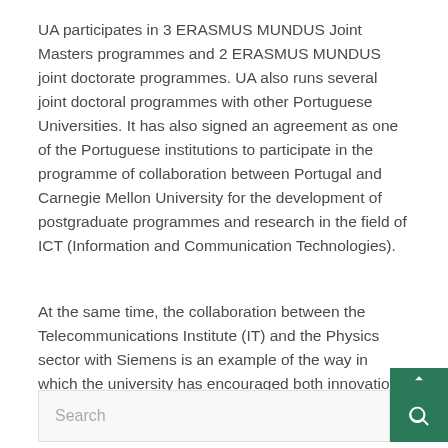UA participates in 3 ERASMUS MUNDUS Joint Masters programmes and 2 ERASMUS MUNDUS joint doctorate programmes. UA also runs several joint doctoral programmes with other Portuguese Universities. It has also signed an agreement as one of the Portuguese institutions to participate in the programme of collaboration between Portugal and Carnegie Mellon University for the development of postgraduate programmes and research in the field of ICT (Information and Communication Technologies).
At the same time, the collaboration between the Telecommunications Institute (IT) and the Physics sector with Siemens is an example of the way in which the university has encouraged both innovation and commercialisation linked to research. It has also provided resources for its research policy through funding and the provision of high quality researchers.
[Figure (screenshot): Search bar with placeholder text 'Search' and a dark green search button with magnifying glass icon, and a small dark green arrow-up button above it.]